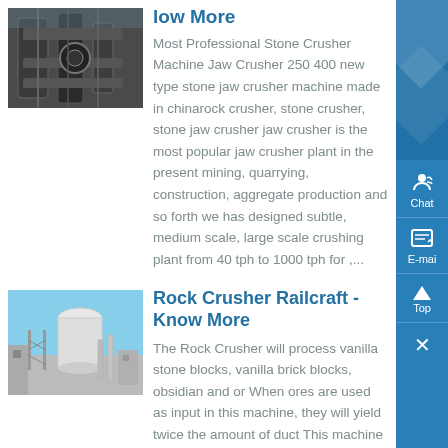[Figure (photo): Industrial stone crusher machinery - pipes and equipment close-up]
Know More
Most Professional Stone Crusher Machine Jaw Crusher 250 400 new type stone jaw crusher machine made in chinarock crusher, stone crusher, stone jaw crusher jaw crusher is the most popular jaw crusher plant in the present mining, quarrying, construction, aggregate production and so forth we has designed subtle, medium scale, large scale crushing plant from 40 tph to 1000 tph for ,...
[Figure (photo): Industrial rock crusher facility with large cylindrical tank and scaffolding]
Rock Crusher Railcraft - Know More
The Rock Crusher will process vanilla stone blocks, vanilla brick blocks, obsidian and or When ores are used as input in this machine, they will yield twice the amount of duct This machine is built out of Rock...